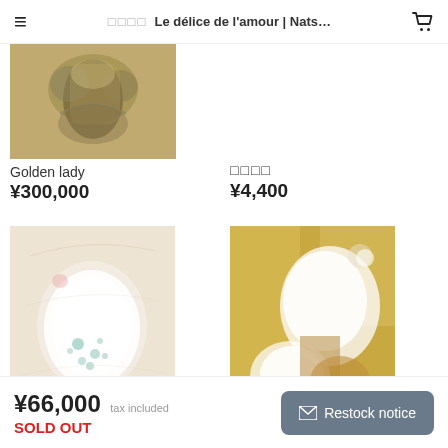≡  ＿＿＿＿  Le délice de l'amour | Nats...  🛒
[Figure (photo): Partial product image of 'Golden lady' artwork — abstract painting with brown, gold, and dark grey tones showing a figure-like form]
Golden lady
¥300,000
＿＿＿＿
¥4,400
[Figure (photo): Product image of 'White rainbow' artwork — abstract painting with cream/beige background and white rounded form with teal dot accents in center]
White  rainbow
[Figure (photo): Product image showing partial view of '＿＿＿ tonnerre' artwork — abstract painting with golden/amber tones and white textured forms]
＿＿＿  tonnerre
¥66,000 tax included
SOLD OUT